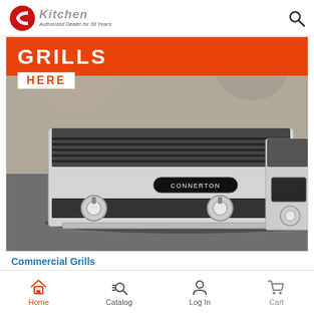CKitchen — Authorized Dealer for 38 Years
[Figure (photo): Commercial grills product photo showing Connerton brand charbroiler grill on a countertop with burner knobs visible, with orange banner overlay saying GRILLS HERE]
Commercial Grills
Home | Catalog | Log In | Cart